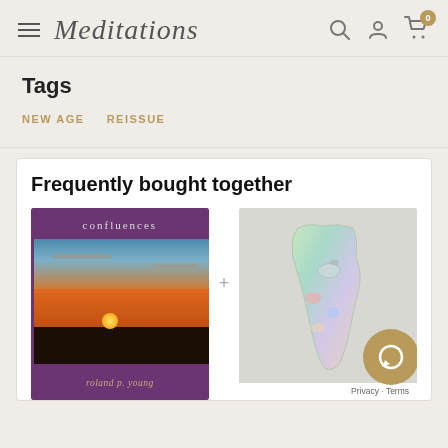Meditations
Tags
NEW AGE   REISSUE
Frequently bought together
[Figure (photo): Product card for 'confluences' by roland p. young — purple album cover with sunset photo]
[Figure (photo): Second product — decorative iridescent item on light background]